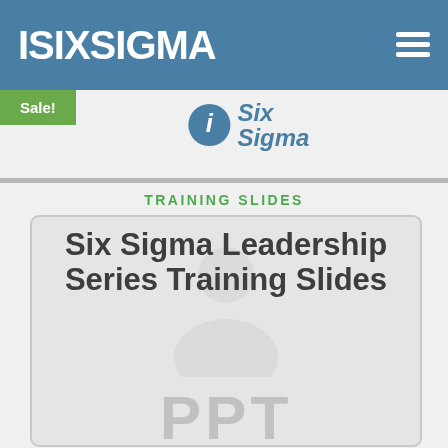ISIXSIGMA
[Figure (logo): iSixSigma logo with blue circle 'i' icon and italic blue text 'Six Sigma']
Sale!
TRAINING SLIDES
Six Sigma Leadership Series Training Slides
[Figure (illustration): PPT watermark text visible at bottom of slide card]